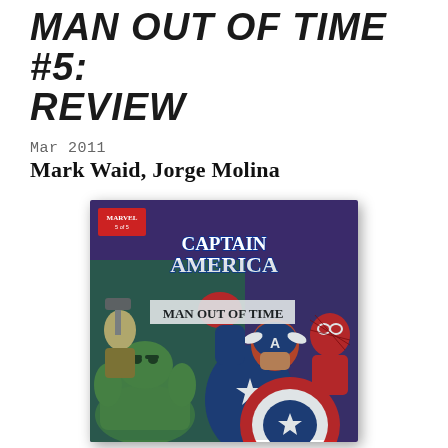MAN OUT OF TIME #5: REVIEW
Mar 2011
Mark Waid, Jorge Molina
[Figure (illustration): Comic book cover for Captain America: Man Out of Time #5, published by Marvel. Shows Captain America in blue costume punching forward with a red gloved fist, holding his red-white-and-blue shield. Behind him is a crowd of Marvel superheroes including Thor, Hulk, and Spider-Man. The background is purple/dark blue. White bold text reads 'CAPTAIN AMERICA' at the top and 'MAN OUT OF TIME' below it. A red Marvel logo box is in the top-left corner.]